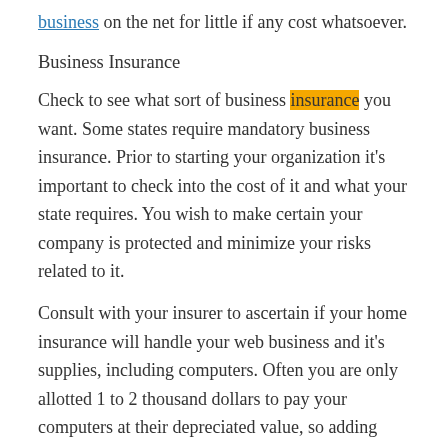business on the net for little if any cost whatsoever.
Business Insurance
Check to see what sort of business insurance you want. Some states require mandatory business insurance. Prior to starting your organization it's important to check into the cost of it and what your state requires. You wish to make certain your company is protected and minimize your risks related to it.
Consult with your insurer to ascertain if your home insurance will handle your web business and it's supplies, including computers. Often you are only allotted 1 to 2 thousand dollars to pay your computers at their depreciated value, so adding home business insurance can help make certain you are covered with enough